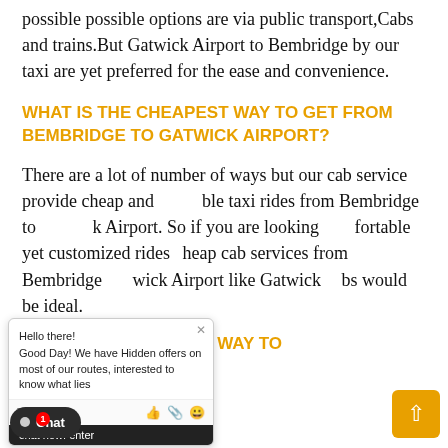possible possible options are via public transport,Cabs and trains.But Gatwick Airport to Bembridge by our taxi are yet preferred for the ease and convenience.
WHAT IS THE CHEAPEST WAY TO GET FROM BEMBRIDGE TO GATWICK AIRPORT?
There are a lot of number of ways but our cab service provide cheap and affordable taxi rides from Bembridge to Gatwick Airport. So if you are looking comfortable yet customized rides cheap cab services from Bembridge Gatwick Airport like Gatwick cabs would be ideal.
WHAT IS THE FASTEST WAY TO